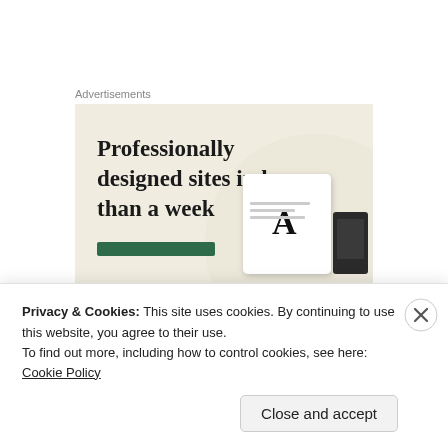Advertisements
[Figure (illustration): Advertisement banner with beige background showing text 'Professionally designed sites in less than a week' with a green button and device mockup images including a card with letter A]
The FTC is accepting comment from the public regarding these rules and, based on statements
Privacy & Cookies: This site uses cookies. By continuing to use this website, you agree to their use.
To find out more, including how to control cookies, see here: Cookie Policy
Close and accept